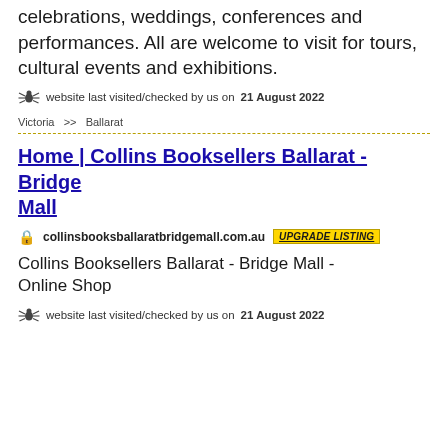celebrations, weddings, conferences and performances. All are welcome to visit for tours, cultural events and exhibitions.
website last visited/checked by us on 21 August 2022
Victoria  >>  Ballarat
Home | Collins Booksellers Ballarat - Bridge Mall
collinsbooksballaratbridgemall.com.au  UPGRADE LISTING
Collins Booksellers Ballarat - Bridge Mall - Online Shop
website last visited/checked by us on 21 August 2022